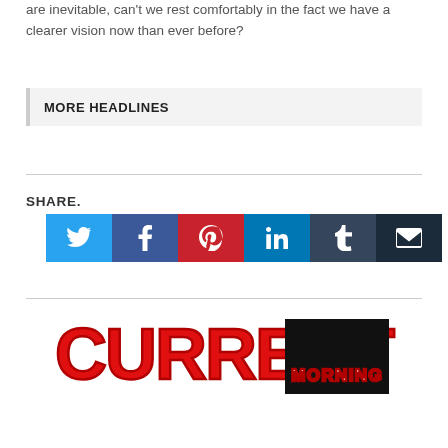are inevitable, can't we rest comfortably in the fact we have a clearer vision now than ever before?
MORE HEADLINES
SHARE.
[Figure (infographic): Social share buttons: Twitter (blue), Facebook (dark blue), Pinterest (red), LinkedIn (blue), Tumblr (dark blue), Email (dark navy)]
[Figure (logo): Current Morning newspaper logo — CURRENT in large red bold letters with MORNING in white on black background below]